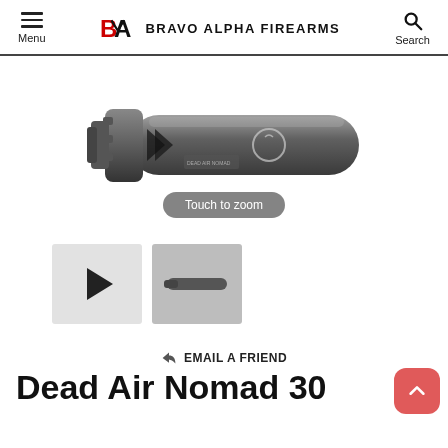Menu | BRAVO ALPHA FIREARMS | Search
[Figure (photo): Dead Air Nomad 30 suppressor/silencer product photo, black cylindrical firearm suppressor, shown with 'Touch to zoom' overlay tooltip]
[Figure (photo): Video thumbnail play button (grey box with black play triangle)]
[Figure (photo): Thumbnail image of firearm suppressor shown from side (small, grey background)]
EMAIL A FRIEND
Dead Air Nomad 30